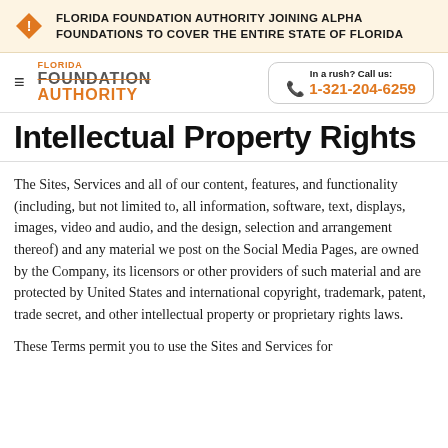FLORIDA FOUNDATION AUTHORITY JOINING ALPHA FOUNDATIONS TO COVER THE ENTIRE STATE OF FLORIDA
Intellectual Property Rights
The Sites, Services and all of our content, features, and functionality (including, but not limited to, all information, software, text, displays, images, video and audio, and the design, selection and arrangement thereof) and any material we post on the Social Media Pages, are owned by the Company, its licensors or other providers of such material and are protected by United States and international copyright, trademark, patent, trade secret, and other intellectual property or proprietary rights laws.
These Terms permit you to use the Sites and Services for